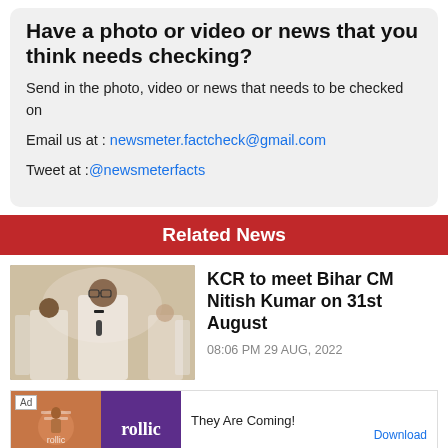Have a photo or video or news that you think needs checking?
Send in the photo, video or news that needs to be checked on
Email us at : newsmeter.factcheck@gmail.com
Tweet at :@newsmeterfacts
Related News
KCR to meet Bihar CM Nitish Kumar on 31st August
08:06 PM 29 AUG, 2022
[Figure (photo): Advertisement banner for Rollic game app with text They Are Coming! and Download link]
They Are Coming! Download